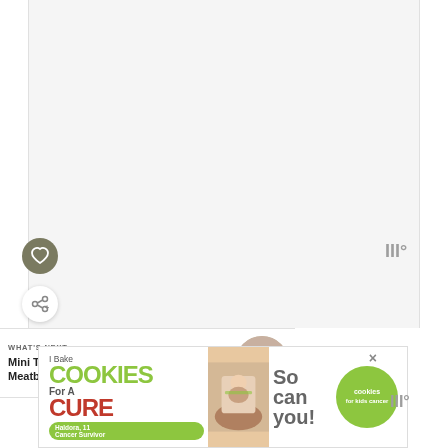[Figure (screenshot): White/empty content area at top of a recipe webpage]
[Figure (logo): WW (Weight Watchers) logo, top right, gray text with degree symbol]
[Figure (illustration): Heart/favorite button: olive green circle with white heart icon]
[Figure (illustration): Share button: white circle with share icon and plus]
WHAT'S NEXT → Mini Turkey Meatballs wi...
[Figure (photo): Thumbnail of mini turkey meatballs dish in a round bowl]
[Figure (illustration): Advertisement banner: I Bake COOKIES For A CURE - Haldora, 11 Cancer Survivor - So can you! - cookies for kids cancer]
[Figure (logo): WW (Weight Watchers) logo, bottom right, gray text with degree symbol]